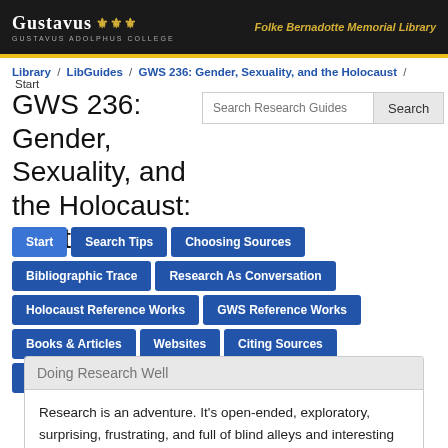GUSTAVUS | GUSTAVUS ADOLPHUS COLLEGE | Folke Bernadotte Memorial Library
Library / LibGuides / GWS 236: Gender, Sexuality, and the Holocaust / Start
GWS 236: Gender, Sexuality, and the Holocaust: Start
Start
Search Tips
Choosing Sources
Bibliographic Trace
Research As Conversation
Holocaust Reference Works
GWS Reference Works
Books & Articles
Websites
Citing Sources
Tracking Down Materials
Doing Research Well
Research is an adventure. It's open-ended, exploratory, surprising, frustrating, and full of blind alleys and interesting side trips. It doesn't have to be lonely. Compare notes with your colleagues and take advantage of the friendly people sitting at the reference desk. We love to help you find